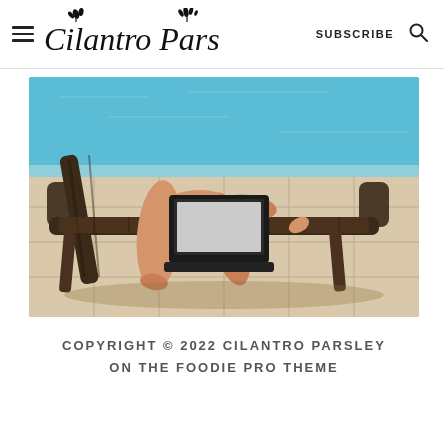Cilantro Parsley — SUBSCRIBE (search icon)
[Figure (photo): A person sitting on a wicker lounge chair by a pool, working on a laptop. The photo shows legs and hands of the person, with blue pool water in the background and stone tiles on the ground.]
COPYRIGHT © 2022 CILANTRO PARSLEY ON THE FOODIE PRO THEME